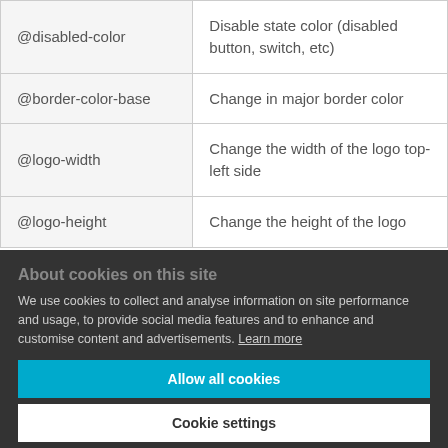| Variable | Description |
| --- | --- |
| @disabled-color | Disable state color (disabled button, switch, etc) |
| @border-color-base | Change in major border color |
| @logo-width | Change the width of the logo top-left side |
| @logo-height | Change the height of the logo |
About cookies on this site
We use cookies to collect and analyse information on site performance and usage, to provide social media features and to enhance and customise content and advertisements. Learn more
Allow all cookies
Cookie settings